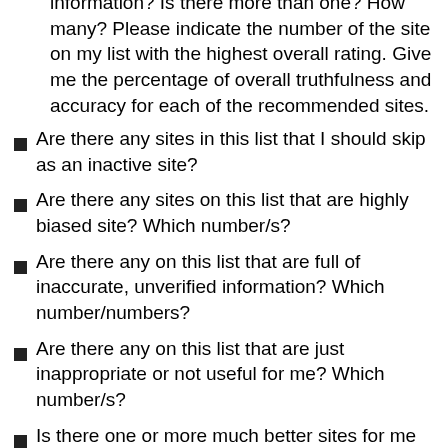information? Is there more than one? How many? Please indicate the number of the site on my list with the highest overall rating. Give me the percentage of overall truthfulness and accuracy for each of the recommended sites.
Are there any sites in this list that I should skip as an inactive site?
Are there any sites on this list that are highly biased site? Which number/s?
Are there any on this list that are full of inaccurate, unverified information? Which number/numbers?
Are there any on this list that are just inappropriate or not useful for me? Which number/s?
Is there one or more much better sites for me not on this list? Do I already use them? [if 'yes', you can jot down some sources you regularly go to, and then ask]: Is it on this second list? Please indicate